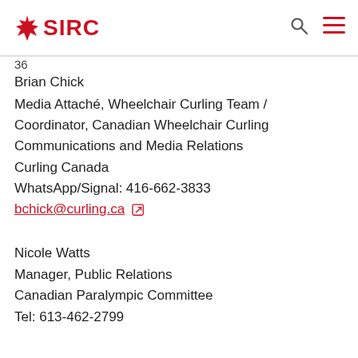SIRC
36
Brian Chick
Media Attaché, Wheelchair Curling Team / Coordinator, Canadian Wheelchair Curling Communications and Media Relations
Curling Canada
WhatsApp/Signal: 416-662-3833
bchick@curling.ca
Nicole Watts
Manager, Public Relations
Canadian Paralympic Committee
Tel: 613-462-2799